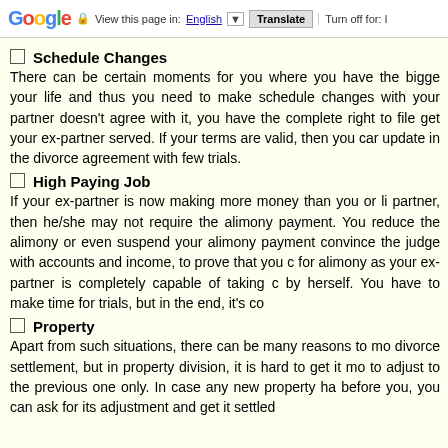Google — View this page in: English ▼ Translate Turn off for: I
Schedule Changes
There can be certain moments for you where you have the bigger your life and thus you need to make schedule changes with your partner doesn't agree with it, you have the complete right to file get your ex-partner served. If your terms are valid, then you can update in the divorce agreement with few trials.
High Paying Job
If your ex-partner is now making more money than you or li partner, then he/she may not require the alimony payment. You reduce the alimony or even suspend your alimony payment convince the judge with accounts and income, to prove that you d for alimony as your ex-partner is completely capable of taking c by herself. You have to make time for trials, but in the end, it's co
Property
Apart from such situations, there can be many reasons to mo divorce settlement, but in property division, it is hard to get it mo to adjust to the previous one only. In case any new property ha before you, you can ask for its adjustment and get it settled